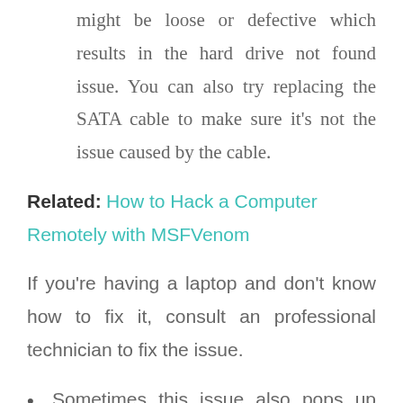might be loose or defective which results in the hard drive not found issue. You can also try replacing the SATA cable to make sure it's not the issue caused by the cable.
Related: How to Hack a Computer Remotely with MSFVenom
If you're having a laptop and don't know how to fix it, consult an professional technician to fix the issue.
Sometimes this issue also pops up due to mis-configuration of the jumpers. You can check it the jumpers